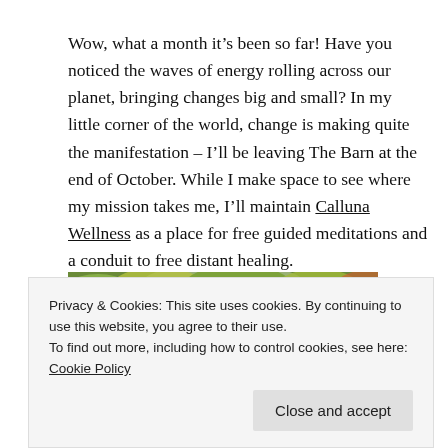Wow, what a month it's been so far! Have you noticed the waves of energy rolling across our planet, bringing changes big and small? In my little corner of the world, change is making quite the manifestation – I'll be leaving The Barn at the end of October. While I make space to see where my mission takes me, I'll maintain Calluna Wellness as a place for free guided meditations and a conduit to free distant healing.
[Figure (photo): Autumn tree canopy photographed from below, showing green, yellow, orange and red leaves against branches]
Privacy & Cookies: This site uses cookies. By continuing to use this website, you agree to their use.
To find out more, including how to control cookies, see here: Cookie Policy
Close and accept